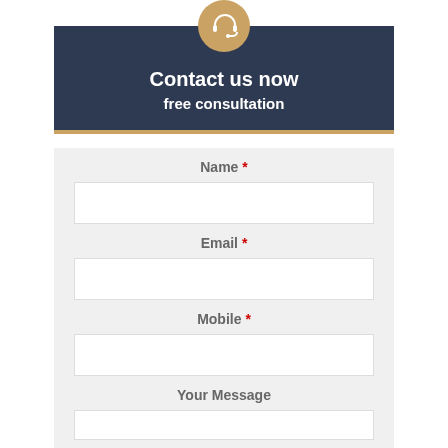[Figure (illustration): Headset/customer support icon in a golden circle, centered at top of the dark blue header card]
Contact us now
free consultation
Name *
Email *
Mobile *
Your Message